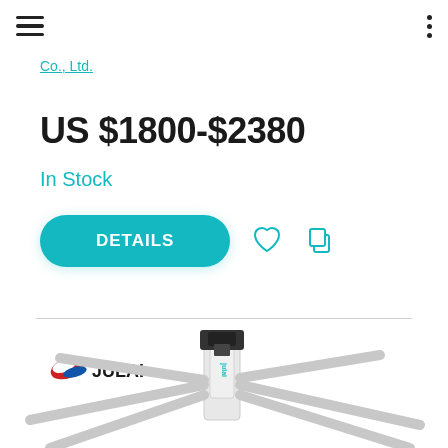Navigation bar with hamburger menu and options menu
Co., Ltd.
US $1800-$2380
In Stock
DETAILS
[Figure (photo): Product photo of a JULAI brand large ceiling fan / industrial fan, showing the hub and blades from below, with JULAI logo visible on the unit. The JULAI brand logo with red and blue swoosh design is shown at top left of the image.]